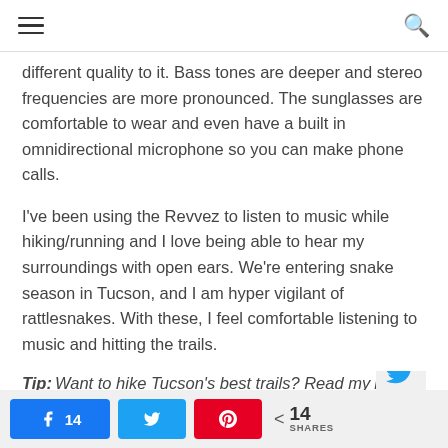☰  [search icon]
different quality to it. Bass tones are deeper and stereo frequencies are more pronounced. The sunglasses are comfortable to wear and even have a built in omnidirectional microphone so you can make phone calls.
I've been using the Revvez to listen to music while hiking/running and I love being able to hear my surroundings with open ears. We're entering snake season in Tucson, and I am hyper vigilant of rattlesnakes. With these, I feel comfortable listening to music and hitting the trails.
Tip: Want to hike Tucson's best trails? Read my Best
14  [Facebook share]  [Twitter share]  [Pinterest share]  < 14 SHARES